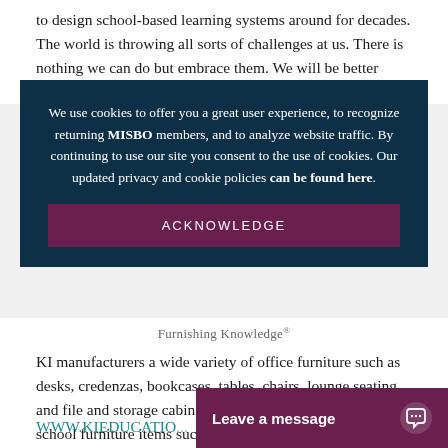to design school-based learning systems around for decades. The world is throwing all sorts of challenges at us. There is nothing we can do but embrace them. We will be better learners — and human beings — for it.
We use cookies to offer you a great user experience, to recognize returning MISBO members, and to analyze website traffic. By continuing to use our site you consent to the use of cookies. Our updated privacy and cookie policies can be found here.
ACKNOWLEDGE
Furnishing Knowledge®
KI manufacturers a wide variety of office furniture such as desks, credenzas, bookcases, tables, chairs, lounge seating, and file and storage cabinets. In addition they also offer school furniture items such as classroom furniture, activity tables, and cafeteria tables.
WWW.KIEDUCATIO...
Leave a message